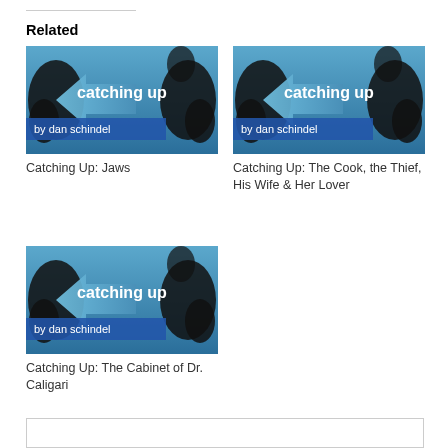Related
[Figure (illustration): Catching Up by Dan Schindel thumbnail - blue arrow graphic]
Catching Up: Jaws
[Figure (illustration): Catching Up by Dan Schindel thumbnail - blue arrow graphic]
Catching Up: The Cook, the Thief, His Wife & Her Lover
[Figure (illustration): Catching Up by Dan Schindel thumbnail - blue arrow graphic]
Catching Up: The Cabinet of Dr. Caligari